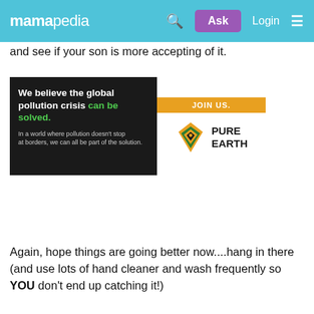mamapedia | Ask | Login
and see if your son is more accepting of it.
[Figure (infographic): Pure Earth advertisement banner: dark background left side with text 'We believe the global pollution crisis can be solved. In a world where pollution doesn't stop at borders, we can all be part of the solution.' Right side white background with orange JOIN US. bar and Pure Earth logo with diamond/earth icon.]
Again, hope things are going better now....hang in there (and use lots of hand cleaner and wash frequently so YOU don't end up catching it!)